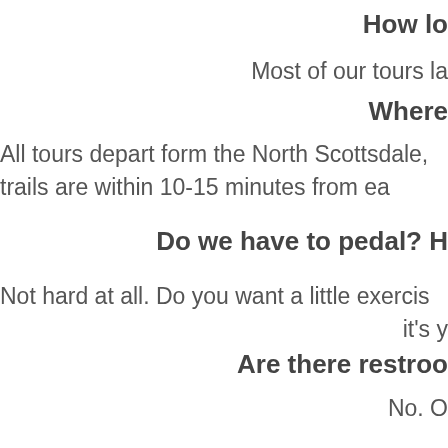How lo
Most of our tours la
Where
All tours depart form the North Scottsdale, trails are within 10-15 minutes from ea
Do we have to pedal? H
Not hard at all. Do you want a little exercis it's y
Are there restroo
No. O
Do you off
No, we do not, however if you do not ha
Should w